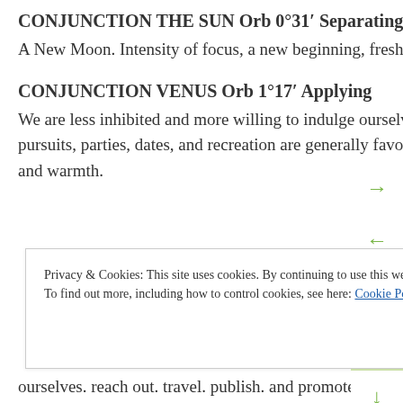CONJUNCTION THE SUN Orb 0°31′ Separating
A New Moon. Intensity of focus, a new beginning, fresh energy, intiative, impulse.
CONJUNCTION VENUS Orb 1°17′ Applying
We are less inhibited and more willing to indulge ourselves. Decorating, beauty treatments, the arts, creative pursuits, parties, dates, and recreation are generally favored now. There is increased sensitivity, affection, and warmth.
Privacy & Cookies: This site uses cookies. By continuing to use this website, you agree to their use. To find out more, including how to control cookies, see here: Cookie Policy
Close and accept
ourselves. reach out. travel. publish. and promote...